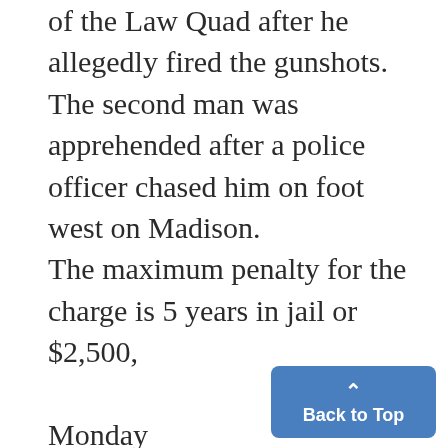of the Law Quad after he allegedly fired the gunshots. The second man was apprehended after a police officer chased him on foot west on Madison. The maximum penalty for the charge is 5 years in jail or $2,500,

Monday
and preliminary examinations for both men are scheduled for April 15 at 9 a.m.
The incident took place in the midst of a night filled with viole